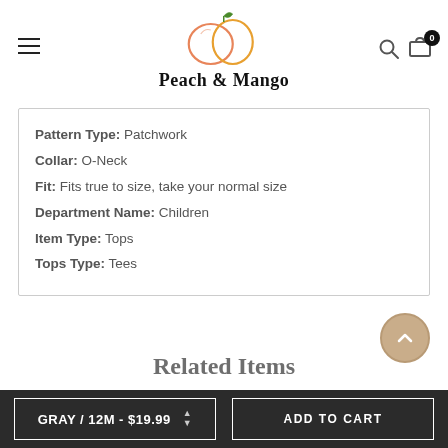[Figure (logo): Peach & Mango store logo with two overlapping fruit outlines (peach and mango) in orange/salmon colors with a green leaf, and bold text 'Peach & Mango' below]
Pattern Type: Patchwork
Collar: O-Neck
Fit: Fits true to size, take your normal size
Department Name: Children
Item Type: Tops
Tops Type: Tees
Related Items
GRAY / 12M - $19.99
ADD TO CART